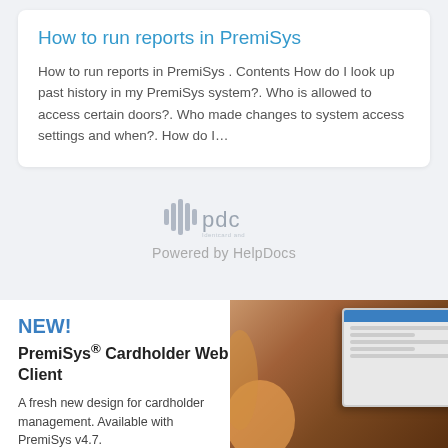How to run reports in PremiSys
How to run reports in PremiSys . Contents How do I look up past history in my PremiSys system?. Who is allowed to access certain doors?. Who made changes to system access settings and when?. How do I…
[Figure (logo): PDC logo with soundwave icon and text 'pdc' with tagline below, followed by 'Powered by HelpDocs' text]
Powered by HelpDocs
NEW!
PremiSys® Cardholder Web Client
A fresh new design for cardholder management. Available with PremiSys v4.7.
LEARN MORE
[Figure (photo): Photo of a person holding a tablet showing a web interface, with a brick wall and door access reader in the background]